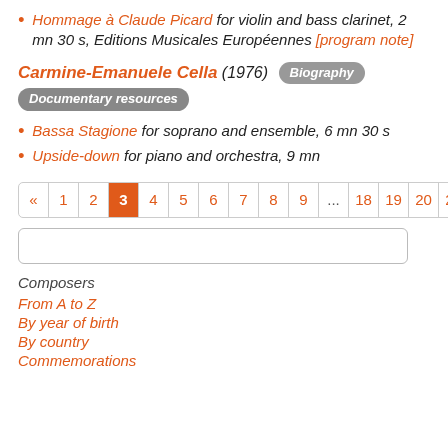Hommage à Claude Picard for violin and bass clarinet, 2 mn 30 s, Editions Musicales Européennes [program note]
Carmine-Emanuele Cella (1976) Biography
Documentary resources
Bassa Stagione for soprano and ensemble, 6 mn 30 s
Upside-down for piano and orchestra, 9 mn
Pagination: « 1 2 3 4 5 6 7 8 9 ... 18 19 20 21 »
Search box
Composers
From A to Z
By year of birth
By country
Commemorations
Advanced search